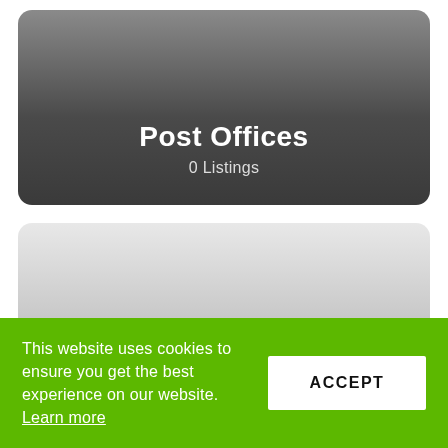[Figure (other): Dark gradient rounded card showing 'Post Offices' category with '0 Listings' subtitle]
[Figure (other): Light grey gradient rounded card, empty content area]
This website uses cookies to ensure you get the best experience on our website. Learn more
ACCEPT